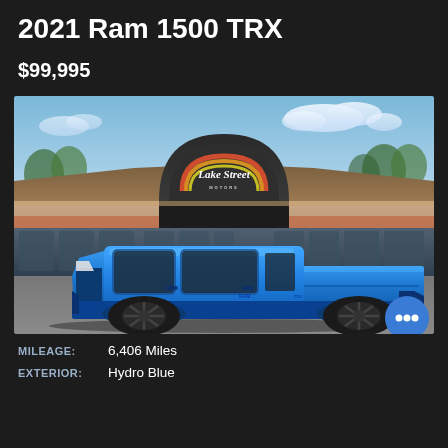2021 Ram 1500 TRX
$99,995
[Figure (photo): 2021 Ram 1500 TRX in Hydro Blue parked in front of Lake Street Motors dealership. The truck is a bright blue color with black wheels and appears to be a crew cab model. The dealership building is visible in the background with a dark sign reading 'Lake Street Motors'.]
MILEAGE:	6,406 Miles
EXTERIOR:	Hydro Blue